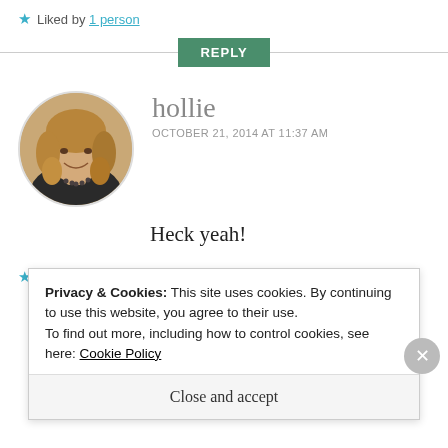★ Liked by 1 person
REPLY
[Figure (photo): Circular avatar photo of a woman with blonde/brown wavy hair, smiling, wearing a necklace, dark top.]
hollie
OCTOBER 21, 2014 AT 11:37 AM
Heck yeah!
★ Like
Privacy & Cookies: This site uses cookies. By continuing to use this website, you agree to their use.
To find out more, including how to control cookies, see here: Cookie Policy
Close and accept